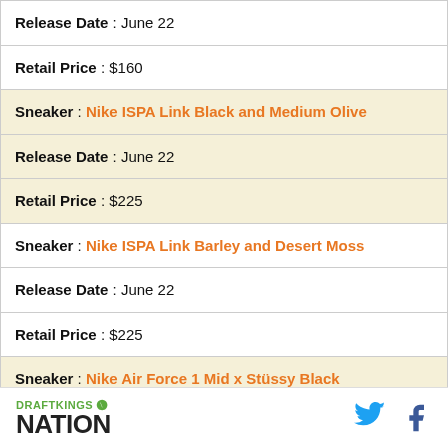| Release Date : June 22 |
| Retail Price : $160 |
| Sneaker : Nike ISPA Link Black and Medium Olive |
| Release Date : June 22 |
| Retail Price : $225 |
| Sneaker : Nike ISPA Link Barley and Desert Moss |
| Release Date : June 22 |
| Retail Price : $225 |
| Sneaker : Nike Air Force 1 Mid x Stüssy Black |
| Release Date : June 22 |
DRAFTKINGS NATION